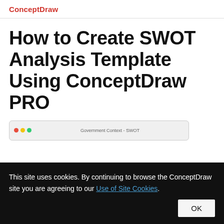ConceptDraw
How to Create SWOT Analysis Template Using ConceptDraw PRO
[Figure (screenshot): Screenshot of ConceptDraw PRO application window showing a SWOT analysis template titled 'Government Context - SWOT']
This site uses cookies. By continuing to browse the ConceptDraw site you are agreeing to our Use of Site Cookies.